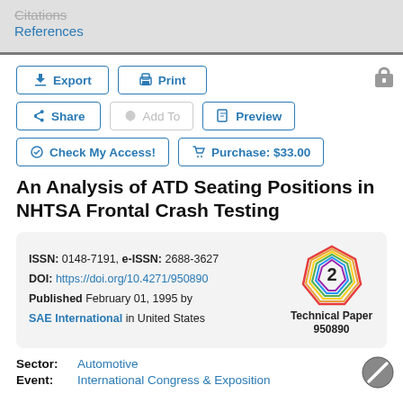Citations
References
Export
Print
Share
Add To
Preview
Check My Access!
Purchase: $33.00
An Analysis of ATD Seating Positions in NHTSA Frontal Crash Testing
ISSN: 0148-7191, e-ISSN: 2688-3627
DOI: https://doi.org/10.4271/950890
Published February 01, 1995 by
SAE International in United States
[Figure (other): Technical Paper badge with number 2 and colorful polygon logo, labeled Technical Paper 950890]
Sector: Automotive
Event: International Congress & Exposition